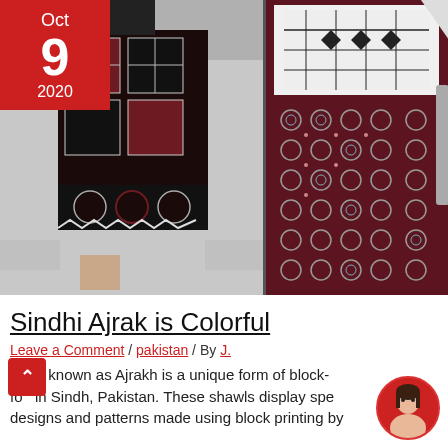[Figure (photo): Left photo: Man wearing traditional Sindhi Ajrak patterned vest (black, white, dark red geometric embroidered patterns) over gray shalwar kameez. Date badge overlay top-left: Oct 9 2020 in red.]
[Figure (photo): Right photo: Close-up detail of Sindhi Ajrak fabric showing geometric and floral block-printed patterns in dark red, white, black and teal on cloth.]
Sindhi Ajrak is Colorful
Leave a Comment / pakistan / By J.
Ajrak known as Ajrakh is a unique form of block- fo in Sindh, Pakistan. These shawls display spe designs and patterns made using block printing by